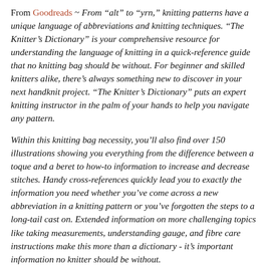From Goodreads ~ From "alt" to "yrn," knitting patterns have a unique language of abbreviations and knitting techniques. "The Knitter's Dictionary" is your comprehensive resource for understanding the language of knitting in a quick-reference guide that no knitting bag should be without. For beginner and skilled knitters alike, there's always something new to discover in your next handknit project. "The Knitter's Dictionary" puts an expert knitting instructor in the palm of your hands to help you navigate any pattern.
Within this knitting bag necessity, you'll also find over 150 illustrations showing you everything from the difference between a toque and a beret to how-to information to increase and decrease stitches. Handy cross-references quickly lead you to exactly the information you need whether you've come across a new abbreviation in a knitting pattern or you've forgotten the steps to a long-tail cast on. Extended information on more challenging topics like taking measurements, understanding gauge, and fibre care instructions make this more than a dictionary - it's important information no knitter should be without.
Packed with bonus tips and tricks, learn the do's and don'ts of